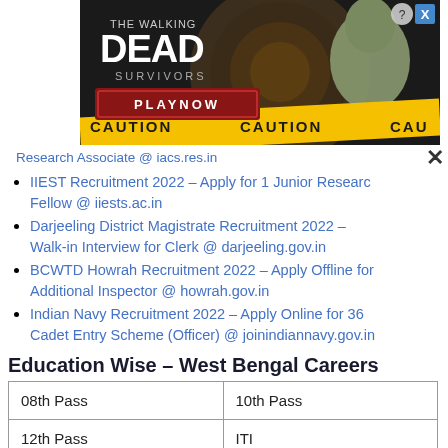[Figure (screenshot): The Walking Dead Survivors game advertisement banner with PLAYNOW button and caution tape]
Research Associate @ iacs.res.in (truncated)
IIEST Recruitment 2022 – Apply for 1 Junior Research Fellow @ iiests.ac.in
Darjeeling District Magistrate Recruitment 2022 – Walk-in Interview for Clerk @ darjeeling.gov.in
BCWTD Howrah Recruitment 2022 – Apply Offline for Additional Inspector @ howrah.gov.in
Indian Navy Recruitment 2022 – Apply Online for 36 Cadet Entry Scheme (Officer) @ joinindiannavy.gov.in
Education Wise – West Bengal Careers
| 08th Pass | 10th Pass |
| 12th Pass | ITI |